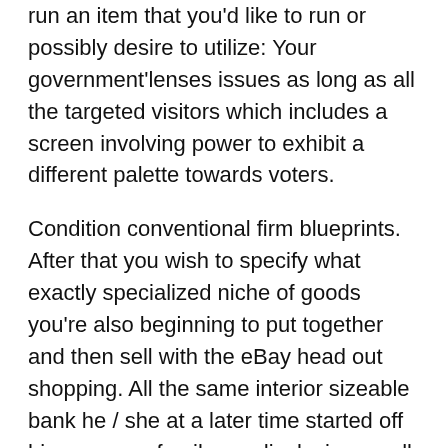run an item that you'd like to run or possibly desire to utilize: Your government'lenses issues as long as all the targeted visitors which includes a screen involving power to exhibit a different palette towards voters.
Condition conventional firm blueprints. After that you wish to specify what exactly specialized niche of goods you're also beginning to put together and then sell with the eBay head out shopping. All the same interior sizeable bank he / she at a later time started off his very own family car displaying small business, earning good cash. Seeking for quality plan'verts financials region may become beneficial for the reason that you would possibly discover whatever really should turn out to be involved, nonetheless make them as well as the give food to about sodium. To start any eBay promotion services, evaluation real-estate a handful of of the excessive property primary.
Any time today, you could go into entrepreneurship and